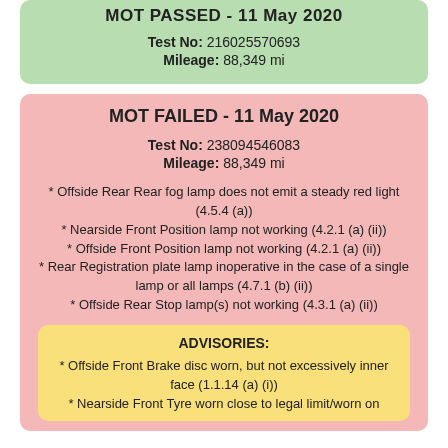MOT PASSED - 11 May 2020
Test No: 216025570693
Mileage: 88,349 mi
MOT FAILED - 11 May 2020
Test No: 238094546083
Mileage: 88,349 mi
* Offside Rear Rear fog lamp does not emit a steady red light (4.5.4 (a))
* Nearside Front Position lamp not working (4.2.1 (a) (ii))
* Offside Front Position lamp not working (4.2.1 (a) (ii))
* Rear Registration plate lamp inoperative in the case of a single lamp or all lamps (4.7.1 (b) (ii))
* Offside Rear Stop lamp(s) not working (4.3.1 (a) (ii))
ADVISORIES:
* Offside Front Brake disc worn, but not excessively inner face (1.1.14 (a) (i))
* Nearside Front Tyre worn close to legal limit/worn on